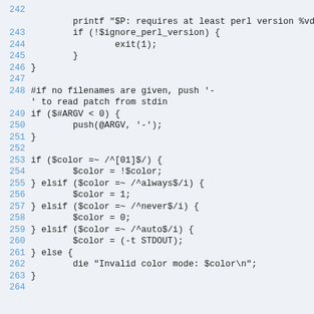[Figure (screenshot): Source code listing in Perl, lines 242-264, showing version checking, argument handling, and color mode logic. Background is light blue-gray, line numbers in blue.]